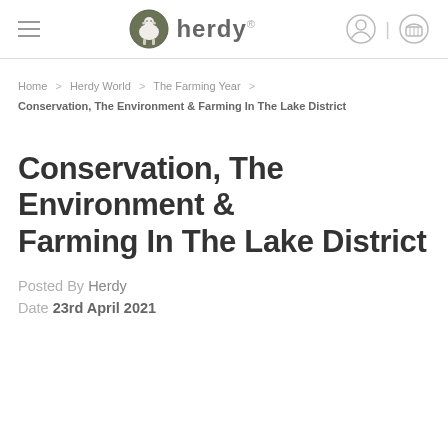herdy® (logo with sheep icon, hamburger menu, user icon, basket icon)
Home > Herdy World > The Farming Year > Conservation, The Environment & Farming In The Lake District
Conservation, The Environment & Farming In The Lake District
Posted By Herdy
Date 23rd April 2021